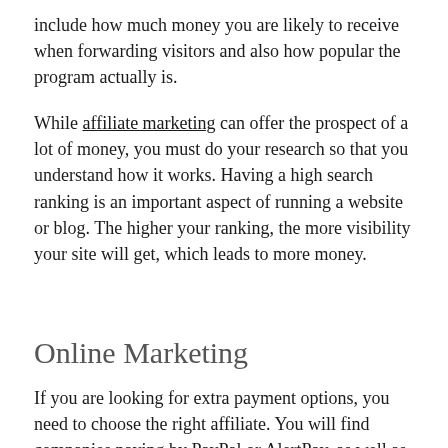include how much money you are likely to receive when forwarding visitors and also how popular the program actually is.
While affiliate marketing can offer the prospect of a lot of money, you must do your research so that you understand how it works. Having a high search ranking is an important aspect of running a website or blog. The higher your ranking, the more visibility your site will get, which leads to more money.
Online Marketing
If you are looking for extra payment options, you need to choose the right affiliate. You will find companies paying by PayPal or AlertPay, as well as companies that only mail checks at specific thresholds in earnings.